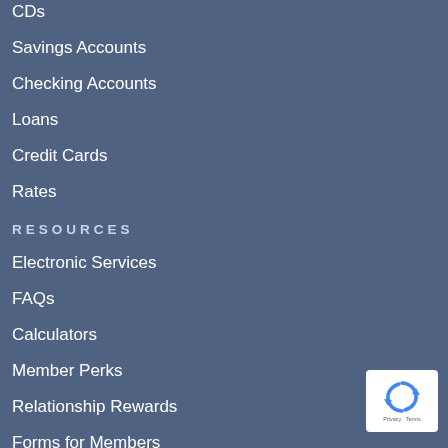CDs
Savings Accounts
Checking Accounts
Loans
Credit Cards
Rates
RESOURCES
Electronic Services
FAQs
Calculators
Member Perks
Relationship Rewards
Forms for Members
[Figure (logo): reCAPTCHA badge with privacy and terms text]